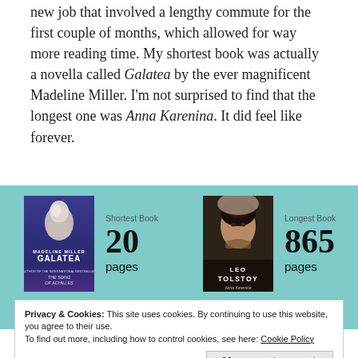new job that involved a lengthy commute for the first couple of months, which allowed for way more reading time. My shortest book was actually a novella called Galatea by the ever magnificent Madeline Miller. I'm not surprised to find that the longest one was Anna Karenina. It did feel like forever.
[Figure (illustration): Two book covers side by side. Left: Galatea by Madeline Miller (blue/purple cover with classical sculpture). Right: Anna Karenina by Leo Tolstoy (portrait of a woman in veil). Labels show Shortest Book 20 pages and Longest Book 865 pages.]
Privacy & Cookies: This site uses cookies. By continuing to use this website, you agree to their use.
To find out more, including how to control cookies, see here: Cookie Policy
Close and accept
with. I do plan to try and read some lengthier books in